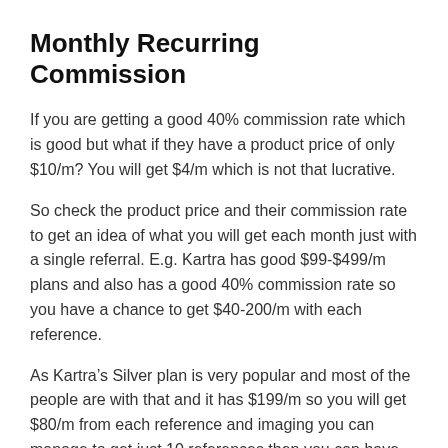Monthly Recurring Commission
If you are getting a good 40% commission rate which is good but what if they have a product price of only $10/m? You will get $4/m which is not that lucrative.
So check the product price and their commission rate to get an idea of what you will get each month just with a single referral. E.g. Kartra has good $99-$499/m plans and also has a good 40% commission rate so you have a chance to get $40-200/m with each reference.
As Kartra’s Silver plan is very popular and most of the people are with that and it has $199/m so you will get $80/m from each reference and imaging you can manage to get just 10 references then you can have $800/m recurring commission as long as they are